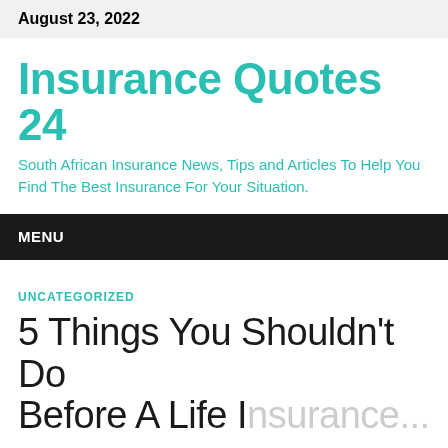August 23, 2022
Insurance Quotes 24
South African Insurance News, Tips and Articles To Help You Find The Best Insurance For Your Situation.
MENU
UNCATEGORIZED
5 Things You Shouldn't Do Before A Life Insurance...